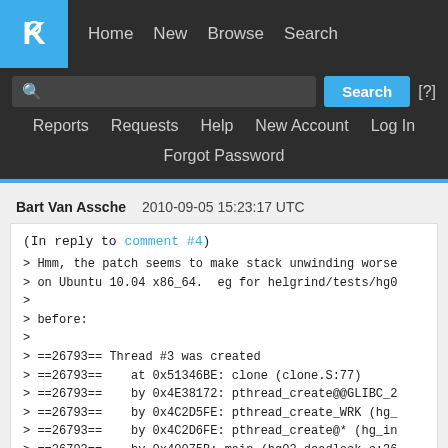KDE header navigation: Home, New, Browse, Search, Reports, Requests, Help, New Account, Log In, Forgot Password
Bart Van Assche   2010-09-05 15:23:17 UTC
(In reply to comment #4)
> Hmm, the patch seems to make stack unwinding worse
> on Ubuntu 10.04 x86_64.  eg for helgrind/tests/hg0
>
> before:
>
> ==26793== Thread #3 was created
> ==26793==    at 0x51346BE: clone (clone.S:77)
> ==26793==    by 0x4E38172: pthread_create@@GLIBC_2
> ==26793==    by 0x4C2D5FE: pthread_create_WRK (hg_
> ==26793==    by 0x4C2D6FE: pthread_create@* (hg_in
> ==26793==    by 0x40075B: main (hg02_deadlock.c:36
>